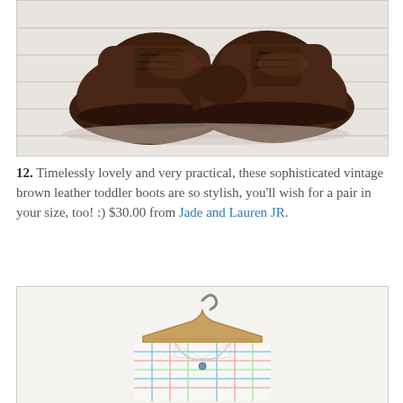[Figure (photo): Dark brown leather toddler oxford/boot shoes photographed on white painted wood plank floor]
12. Timelessly lovely and very practical, these sophisticated vintage brown leather toddler boots are so stylish, you'll wish for a pair in your size, too! :) $30.00 from Jade and Lauren JR.
[Figure (photo): White collared plaid shirt/top hanging on a small wooden hanger against a light background]